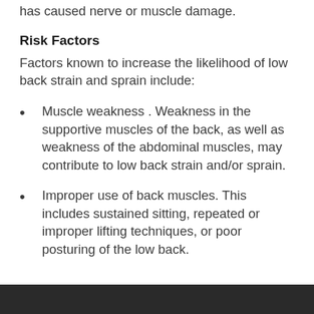has caused nerve or muscle damage.
Risk Factors
Factors known to increase the likelihood of low back strain and sprain include:
Muscle weakness . Weakness in the supportive muscles of the back, as well as weakness of the abdominal muscles, may contribute to low back strain and/or sprain.
Improper use of back muscles. This includes sustained sitting, repeated or improper lifting techniques, or poor posturing of the low back.